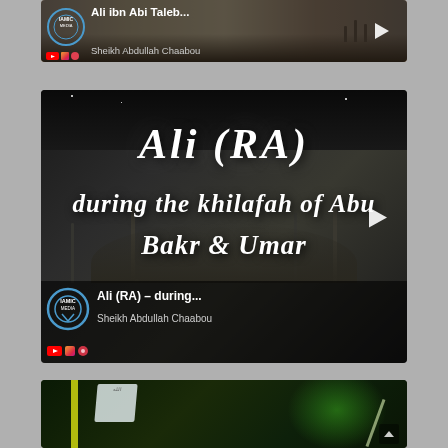[Figure (screenshot): Video thumbnail 1: Aerial view of mosque with crowd, title 'Ali ibn Abi Taleb...' by Sheikh Abdullah Chaabou, with play button]
[Figure (screenshot): Video thumbnail 2: Night mosque scene with calligraphic text 'Ali (RA) during the khilafah of Abu Bakr & Umar', title 'Ali (RA) - during...' by Sheikh Abdullah Chaabou, with play button]
[Figure (screenshot): Video thumbnail 3: Battle/flags scene with green and yellow lighting, partially visible at bottom]